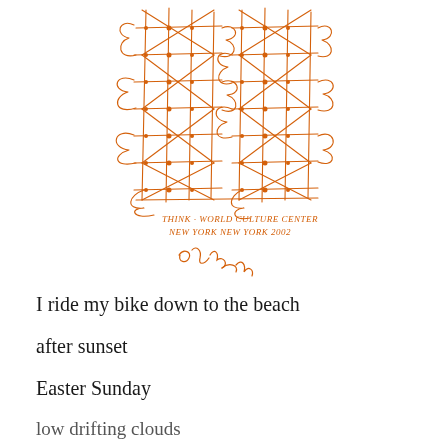[Figure (illustration): Hand-drawn orange sketch of two tall tower-like structures made of crosshatched lines and looping scribbles, resembling architectural drawings. Below the drawing is handwritten text reading 'THINK · WORLD CULTURE CENTER NEW YORK NEW YORK 2002' followed by a signature.]
I ride my bike down to the beach
after sunset
Easter Sunday
low drifting clouds